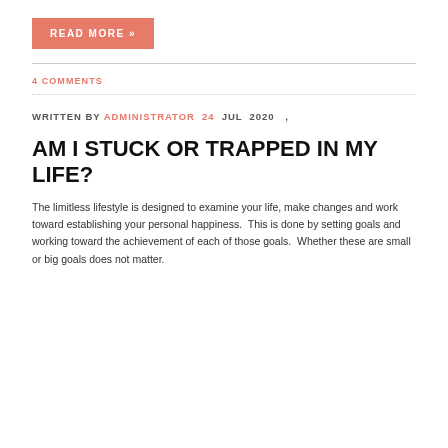READ MORE »
4 COMMENTS
WRITTEN BY ADMINISTRATOR 24 JUL 2020 ,
AM I STUCK OR TRAPPED IN MY LIFE?
The limitless lifestyle is designed to examine your life, make changes and work toward establishing your personal happiness.  This is done by setting goals and working toward the achievement of each of those goals.  Whether these are small or big goals does not matter.